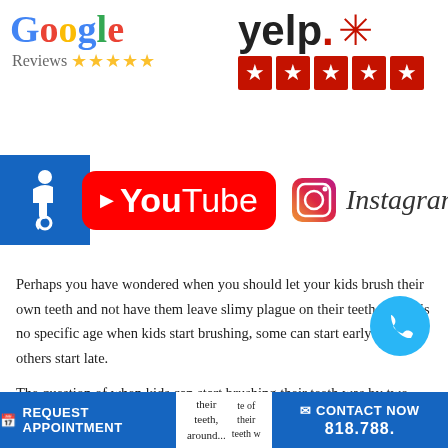[Figure (logo): Google Reviews logo with 5 gold stars]
[Figure (logo): Yelp logo with 5 red star boxes]
[Figure (logo): Disability accessibility badge, YouTube logo, Instagram logo]
Perhaps you have wondered when you should let your kids brush their own teeth and not have them leave slimy plague on their teeth. There is no specific age when kids start brushing, some can start early and others start late.
The question of when kids can start brushing their teeth was by two researchers who found that children around age 5 only brush their teeth, around te of their teeth w
REQUEST APPOINTMENT   their teeth, around   CONTACT NOW 818.788.